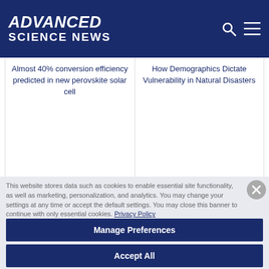ADVANCED SCIENCE NEWS
Almost 40% conversion efficiency predicted in new perovskite solar cell
How Demographics Dictate Vulnerability in Natural Disasters
This website stores data such as cookies to enable essential site functionality, as well as marketing, personalization, and analytics. You may change your settings at any time or accept the default settings. You may close this banner to continue with only essential cookies. Privacy Policy
Manage Preferences
Accept All
Reject All